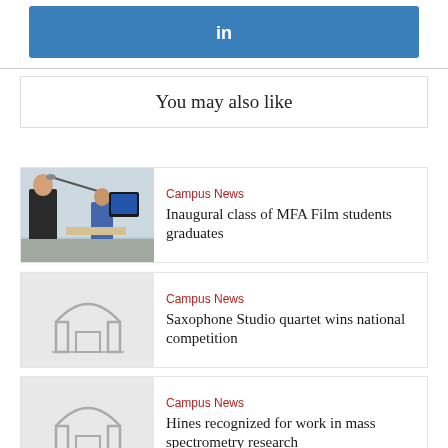[Figure (logo): LinkedIn share button bar, blue background with white 'in' icon]
You may also like
[Figure (photo): Students in a film class setting, person holding boom microphone, others with camera equipment in a classroom]
Campus News
Inaugural class of MFA Film students graduates
[Figure (illustration): Gray placeholder image with arch/gate icon]
Campus News
Saxophone Studio quartet wins national competition
[Figure (illustration): Gray placeholder image with arch/gate icon]
Campus News
Hines recognized for work in mass spectrometry research
[Figure (illustration): Gray placeholder image with arch/gate icon]
Campus News
Putcha wins Best Article Award